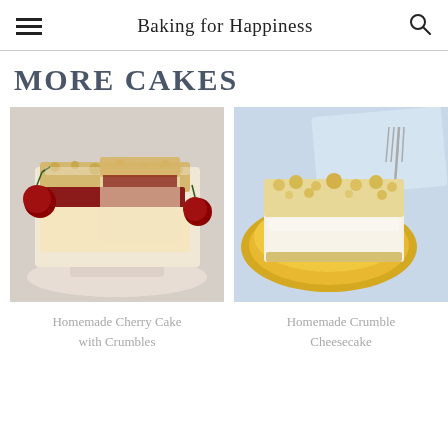Baking for Happiness
MORE CAKES
[Figure (photo): Cherry crumble cake squares on a pink cake stand with fresh cherries]
Homemade Cherry Cake with Crumbles
[Figure (photo): Homemade crumble cheesecake slice on a yellow plate with a fork]
Homemade Crumble Cheesecake